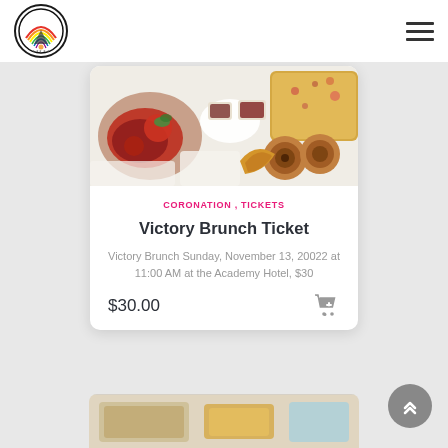Rainbow assembly logo and navigation hamburger menu
[Figure (photo): Overhead photo of a brunch spread including charcuterie, pastries, croissants, cinnamon rolls, and various side dishes on a white tablecloth]
CORONATION , TICKETS
Victory Brunch Ticket
Victory Brunch Sunday, November 13, 20022 at 11:00 AM at the Academy Hotel, $30
$30.00
[Figure (photo): Partial view of another card or brochure at the bottom of the page]